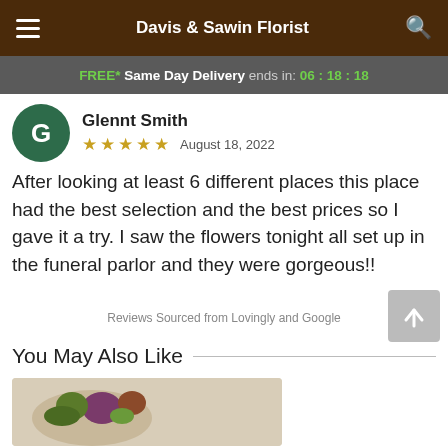Davis & Sawin Florist
FREE* Same Day Delivery ends in: 06:18:18
Glennt Smith
★★★★★  August 18, 2022
After looking at least 6 different places this place had the best selection and the best prices so I gave it a try. I saw the flowers tonight all set up in the funeral parlor and they were gorgeous!!
Reviews Sourced from Lovingly and Google
You May Also Like
[Figure (photo): Product image of a floral arrangement, partially visible at bottom of page]